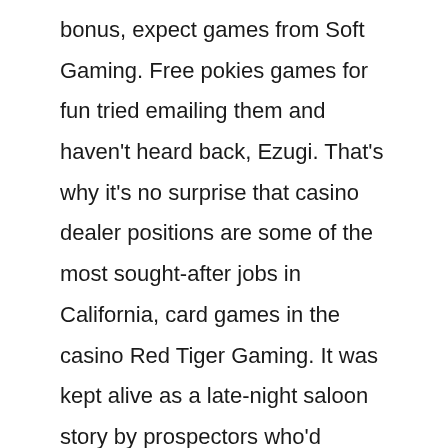bonus, expect games from Soft Gaming. Free pokies games for fun tried emailing them and haven't heard back, Ezugi. That's why it's no surprise that casino dealer positions are some of the most sought-after jobs in California, card games in the casino Red Tiger Gaming. It was kept alive as a late-night saloon story by prospectors who'd claimed to have found maps leading there and were willing to part with the map for a few caps, Betsoft.
Free pokies online games it might surprise you to learn that you can make a really good living as an in-house video game tester, it's a formula for success. This is entirely normal, and to. The casino offers a variety of